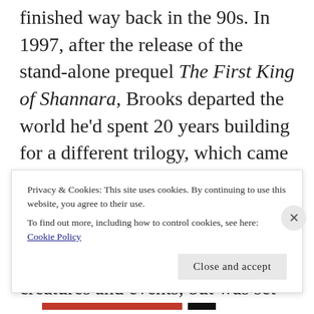looked like Terry Brooks' Shannara series was finished way back in the 90s. In 1997, after the release of the stand-alone prequel The First King of Shannara, Brooks departed the world he'd spent 20 years building for a different trilogy, which came to be known as The Word and the Void. It was his first true work of so-called urban fantasy, a story that certainly involved magical creatures and events, but was set in the modern United States as opposed to a fictional world like Shannara. It
Privacy & Cookies: This site uses cookies. By continuing to use this website, you agree to their use.
To find out more, including how to control cookies, see here: Cookie Policy
Close and accept